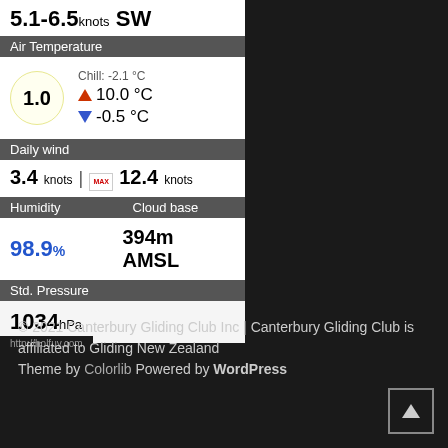5.1-6.5knots SW
Air Temperature
1.0 | Chill: -2.1 °C | ▲ 10.0 °C | ▼ -0.5 °C
Daily wind
3.4knots | MAX 12.4knots
Humidity | Cloud base
98.9% | 394m AMSL
Std. Pressure
1034hPa
http://holfuy.com
© 2021 Canterbury Gliding Club Inc | Canterbury Gliding Club is affiliated to Gliding New Zealand
Theme by Colorlib Powered by WordPress